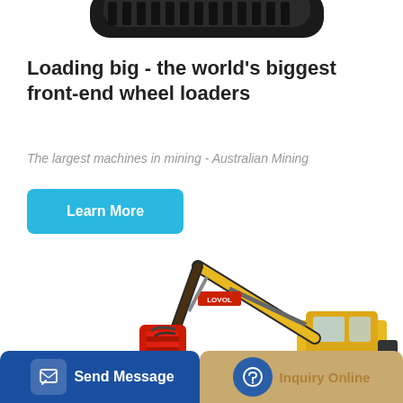[Figure (photo): Top portion of a large construction/mining machine tracks (black rubber tracks), cropped at the top of the page]
Loading big - the world's biggest front-end wheel loaders
The largest machines in mining - Australian Mining
Learn More
[Figure (photo): Yellow and red LOVOL excavator with hydraulic attachment, shown from the side on white background]
Send Message
Inquiry Online